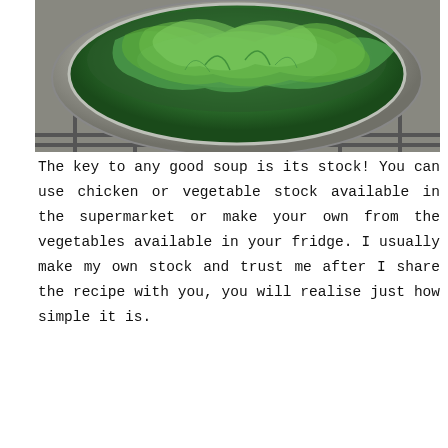[Figure (photo): A pot or pan on a stove grill containing dark green leafy vegetables (kale or similar greens), viewed from above.]
The key to any good soup is its stock! You can use chicken or vegetable stock available in the supermarket or make your own from the vegetables available in your fridge. I usually make my own stock and trust me after I share the recipe with you, you will realise just how simple it is.
So let’s start with the stock first. I had
Privacy & Cookies: This site uses cookies. By continuing to use this website, you agree to their use. To find out more, including how to control cookies, see here: Cookie Policy
Close and accept